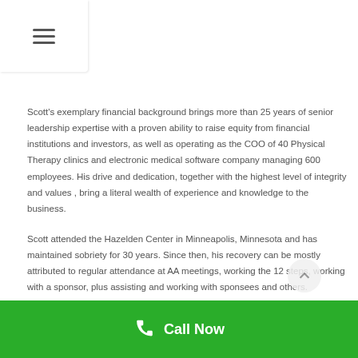☰
Scott's exemplary financial background brings more than 25 years of senior leadership expertise with a proven ability to raise equity from financial institutions and investors, as well as operating as the COO of 40 Physical Therapy clinics and electronic medical software company managing 600 employees. His drive and dedication, together with the highest level of integrity and values , bring a literal wealth of experience and knowledge to the business.
Scott attended the Hazelden Center in Minneapolis, Minnesota and has maintained sobriety for 30 years. Since then, his recovery can be mostly attributed to regular attendance at AA meetings, working the 12 steps, working with a sponsor, plus assisting and working with sponsees and others.
Call Now